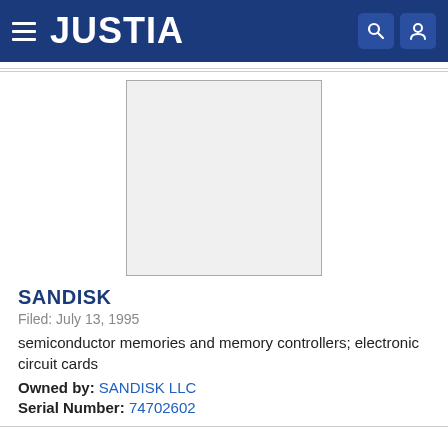JUSTIA
[Figure (other): Trademark image placeholder — empty light gray rectangle with border]
SANDISK
Filed: July 13, 1995
semiconductor memories and memory controllers; electronic circuit cards
Owned by: SANDISK LLC
Serial Number: 74702602